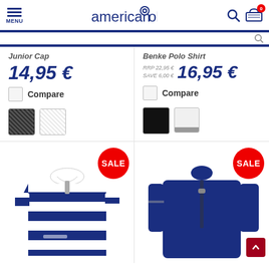american golf - MENU, search, cart icons
Junior Cap - 14,95 €
Benke Polo Shirt - RRP 22,95 € SAVE 6,00 € - 16,95 €
Compare
Compare
[Figure (screenshot): Two color swatches: dark patterned and light patterned]
[Figure (screenshot): Two color swatches: solid black and light grey with bar]
[Figure (photo): Navy and white striped junior polo shirt with SALE badge]
[Figure (photo): Navy junior jacket/quarter-zip with SALE badge]